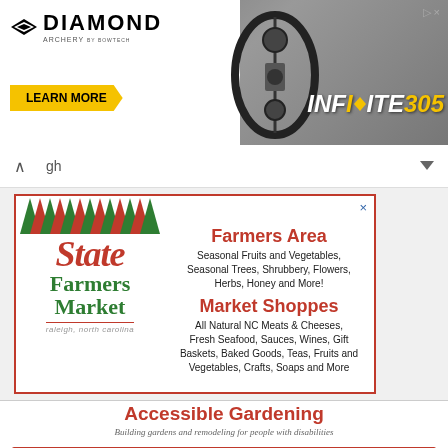[Figure (advertisement): Diamond Archery INFINITE 305 bow advertisement with 'LEARN MORE' button]
[Figure (advertisement): State Farmers Market Raleigh North Carolina ad showing Farmers Area and Market Shoppes]
[Figure (advertisement): Accessible Gardening ad for Springfield's Complete Services, 336-638-1912, scstriad@yahoo.com]
[Figure (advertisement): Loudoun Deck Repair LLC - Get a Free Quote ad]